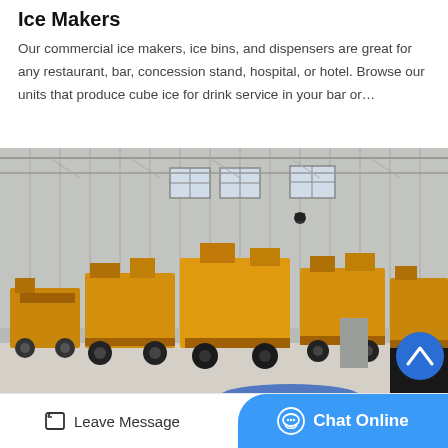Ice Makers
Our commercial ice makers, ice bins, and dispensers are great for any restaurant, bar, concession stand, hospital, or hotel. Browse our units that produce cube ice for drink service in your bar or…
[Figure (photo): Industrial warehouse interior with multiple large yellow heavy construction/mining machines (crushers/screeners) on wheeled trailers lined up on a concrete floor, with corrugated metal walls and windows in the background.]
Leave Message  Chat Online